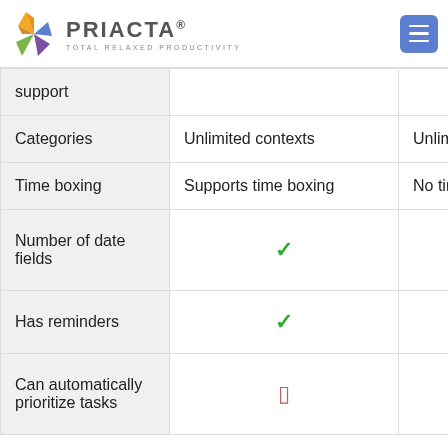PRIACTA® TOTAL RELAXED PRODUCTIVITY
| Feature | Priacta | Other |
| --- | --- | --- |
| support |  |  |
| Categories | Unlimited contexts | Unlim… |
| Time boxing | Supports time boxing | No tim… |
| Number of date fields | ✓ |  |
| Has reminders | ✓ |  |
| Can automatically prioritize tasks | ⬜ |  |